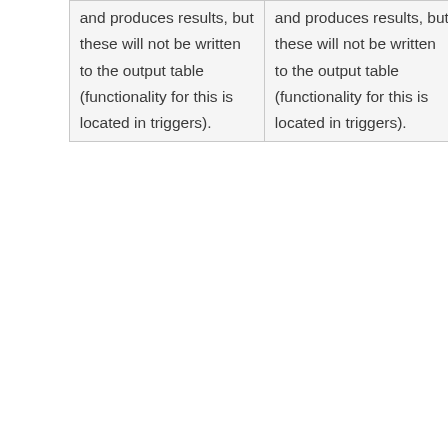| and produces results, but these will not be written to the output table (functionality for this is located in triggers). | and produces results, but these will not be written to the output table (functionality for this is located in triggers). |